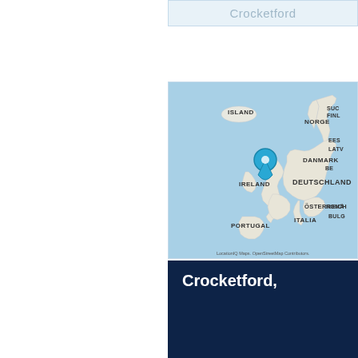Crocketford
[Figure (map): Map of Europe with a blue location pin marker placed over the United Kingdom/Scotland area. Country labels visible include ISLAND, NORGE, EES, LATV, DANMARK, BE, IRELAND, DEUTSCHLAND, ÖSTERREICH, ROMÄ, ITALIA, BULG, PORTUGAL. Attribution text reads: LocationIQ Maps. OpenStreetMap Contributors.]
Crocketford,